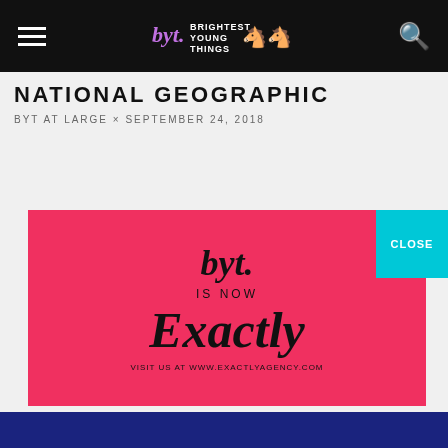BYT Brightest Young Things
NATIONAL GEOGRAPHIC
BYT AT LARGE × SEPTEMBER 24, 2018
[Figure (logo): BYT is now Exactly agency advertisement card on red/pink background. Top: stylized 'byt.' script logo. Middle: 'IS NOW'. Large: 'Exactly' in bold serif italic. Bottom: 'VISIT US AT WWW.EXACTLYAGENCY.COM']